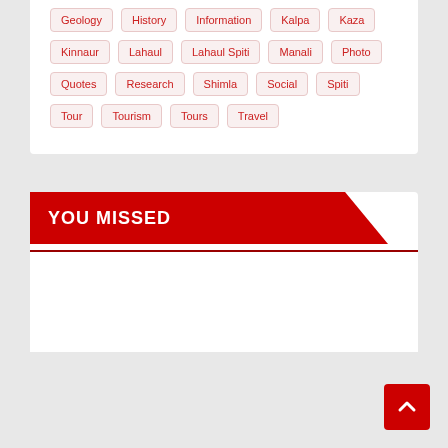Geology
History
Information
Kalpa
Kaza
Kinnaur
Lahaul
Lahaul Spiti
Manali
Photo
Quotes
Research
Shimla
Social
Spiti
Tour
Tourism
Tours
Travel
YOU MISSED